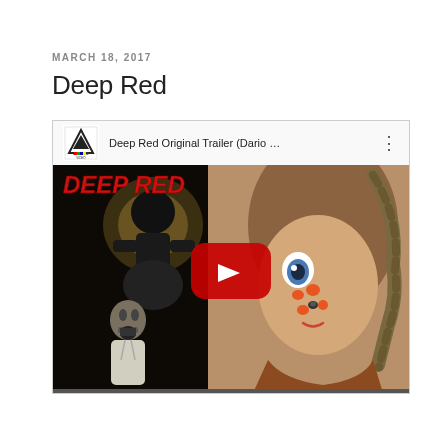MARCH 18, 2017
Deep Red
[Figure (screenshot): YouTube video thumbnail for 'Deep Red Original Trailer (Dario ...' showing Arrow Video logo in top bar, with horror movie artwork featuring the text 'DEEP RED' in red italic letters, a dark painted figure with a halo on the left side, a creepy doll face with orange dot freckles and braided rope hair on the right side, and a red YouTube play button in the center.]